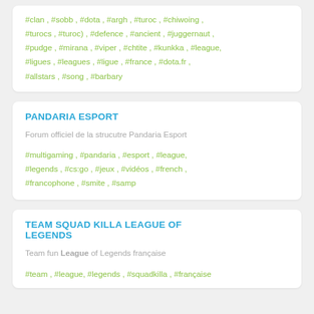#clan , #sobb , #dota , #argh , #turoc , #chiwoing , #turocs , #turoc) , #defence , #ancient , #juggernaut , #pudge , #mirana , #viper , #chtite , #kunkka , #league, #ligues , #leagues , #ligue , #france , #dota.fr , #allstars , #song , #barbary
PANDARIA ESPORT
Forum officiel de la strucutre Pandaria Esport
#multigaming , #pandaria , #esport , #league, #legends , #cs:go , #jeux , #vidéos , #french , #francophone , #smite , #samp
TEAM SQUAD KILLA LEAGUE OF LEGENDS
Team fun League of Legends française
#team , #league, #legends , #squadkilla , #française